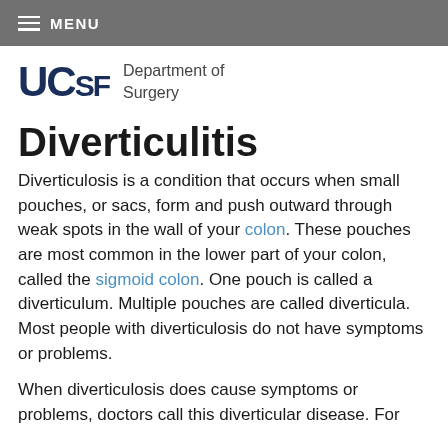MENU
[Figure (logo): UCSF Department of Surgery logo with bold UCSF text and department name]
Diverticulitis
Diverticulosis is a condition that occurs when small pouches, or sacs, form and push outward through weak spots in the wall of your colon. These pouches are most common in the lower part of your colon, called the sigmoid colon. One pouch is called a diverticulum. Multiple pouches are called diverticula. Most people with diverticulosis do not have symptoms or problems.
When diverticulosis does cause symptoms or problems, doctors call this diverticular disease. For